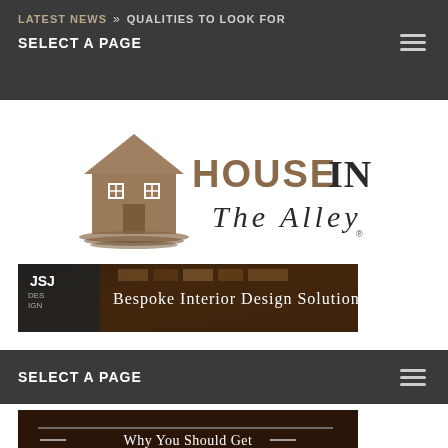LATEST NEWS » QUALITIES TO LOOK FOR
SELECT A PAGE
[Figure (logo): House In The Alley logo with house icon and stylized text]
[Figure (infographic): JSJ Design - Bespoke Interior Design Solutions banner advertisement]
SELECT A PAGE
[Figure (infographic): Why You Should Get POOL CERTIFICATION banner image]